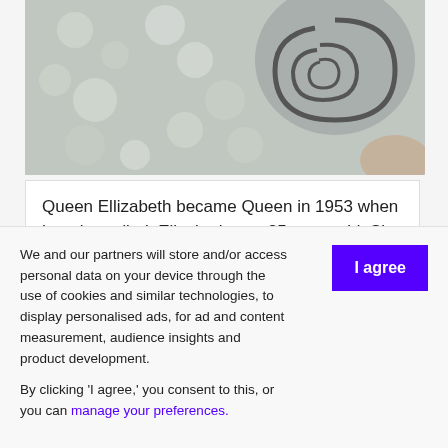[Figure (photo): Photograph showing decorative stone or mosaic surface with spiral/shell pattern in grey and white tones]
Queen Ellizabeth became Queen in 1953 when her sister died. Elizabeth was 25 years old. She ruled untill her death. She was the 5th and last ruler of the Tudor dynasty.
Apr 23, 1564
We and our partners will store and/or access personal data on your device through the use of cookies and similar technologies, to display personalised ads, for ad and content measurement, audience insights and product development.

By clicking 'I agree,' you consent to this, or you can manage your preferences.